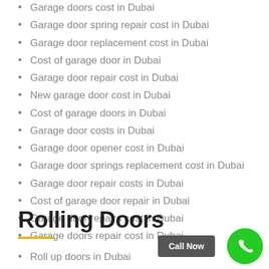Garage doors cost in Dubai
Garage door spring repair cost in Dubai
Garage door replacement cost in Dubai
Cost of garage door in Dubai
Garage door repair cost in Dubai
New garage door cost in Dubai
Cost of garage doors in Dubai
Garage door costs in Dubai
Garage door opener cost in Dubai
Garage door springs replacement cost in Dubai
Garage door repair costs in Dubai
Cost of garage door repair in Dubai
Garage door repairs cost in Dubai
Garage doors repair cost in Dubai
Rolling Doors
Roll up doors in Dubai